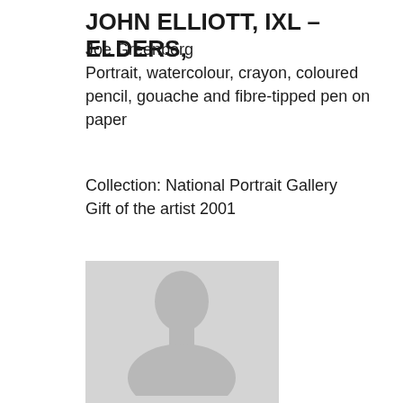JOHN ELLIOTT, IXL – ELDERS,
Joe Greenberg
Portrait, watercolour, crayon, coloured pencil, gouache and fibre-tipped pen on paper
Collection: National Portrait Gallery
Gift of the artist 2001
[Figure (photo): Placeholder silhouette portrait image showing a head and shoulders outline of a person against a light grey background]